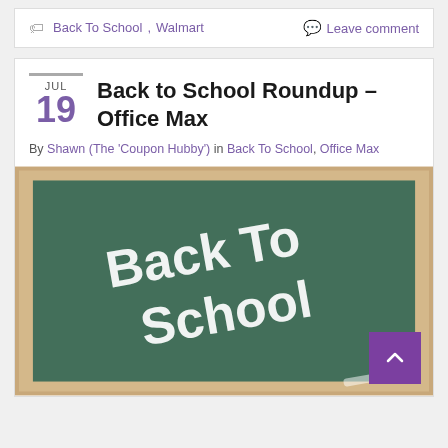Back To School, Walmart
Leave comment
Back to School Roundup – Office Max
By Shawn (The 'Coupon Hubby') in Back To School, Office Max
[Figure (photo): A chalkboard with 'Back To School' written in white chalk letters on a green surface, framed in wood.]